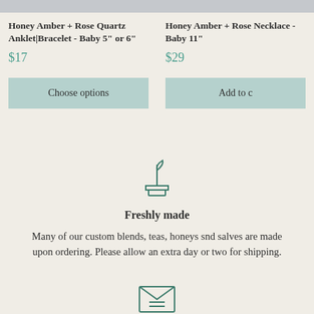Honey Amber + Rose Quartz Anklet|Bracelet - Baby 5" or 6"
$17
Choose options
Honey Amber + Rose Necklace - Baby 11"
$29
Add to c
[Figure (illustration): Plant sprouting icon in teal/dark green color, showing a small seedling growing from a rectangular pot or platform]
Freshly made
Many of our custom blends, teas, honeys snd salves are made upon ordering. Please allow an extra day or two for shipping.
[Figure (illustration): Open envelope icon in teal/dark green color, showing an envelope with letter inside]